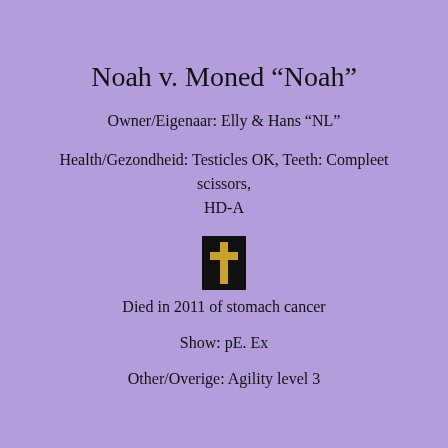Noah v. Moned “Noah”
Owner/Eigenaar: Elly & Hans “NL”
Health/Gezondheid: Testicles OK, Teeth: Compleet scissors, HD-A
[Figure (illustration): Black rectangle with a gold cross symbol indicating death]
Died in 2011 of stomach cancer
Show: pE. Ex
Other/Overige: Agility level 3